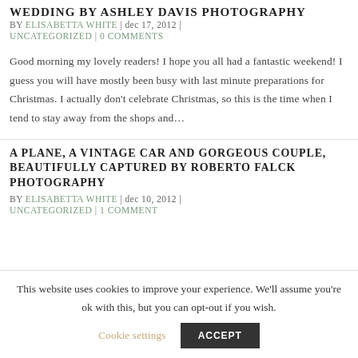WEDDING BY ASHLEY DAVIS PHOTOGRAPHY
BY ELISABETTA WHITE | dec 17, 2012 |
UNCATEGORIZED | 0 COMMENTS
Good morning my lovely readers! I hope you all had a fantastic weekend! I guess you will have mostly been busy with last minute preparations for Christmas. I actually don't celebrate Christmas, so this is the time when I tend to stay away from the shops and...
A PLANE, A VINTAGE CAR AND GORGEOUS COUPLE, BEAUTIFULLY CAPTURED BY ROBERTO FALCK PHOTOGRAPHY
BY ELISABETTA WHITE | dec 10, 2012 |
UNCATEGORIZED | 1 COMMENT
This website uses cookies to improve your experience. We'll assume you're ok with this, but you can opt-out if you wish.